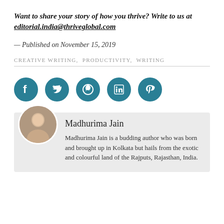Want to share your story of how you thrive? Write to us at editorial.india@thriveglobal.com
— Published on November 15, 2019
CREATIVE WRITING, PRODUCTIVITY, WRITING
[Figure (infographic): Row of five social media icons (Facebook, Twitter, WhatsApp, LinkedIn, Pinterest) as teal circles with white symbols]
[Figure (photo): Circular profile photo of Madhurima Jain]
Madhurima Jain
Madhurima Jain is a budding author who was born and brought up in Kolkata but hails from the exotic and colourful land of the Rajputs, Rajasthan, India.